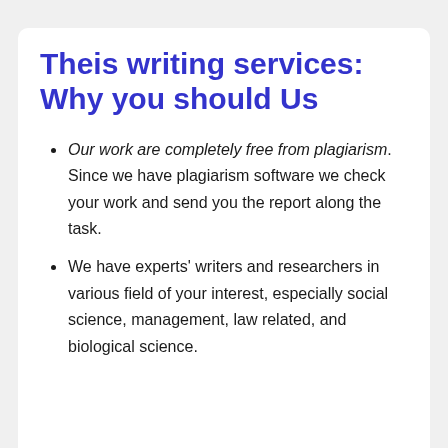Theis writing services: Why you should Us
Our work are completely free from plagiarism. Since we have plagiarism software we check your work and send you the report along the task.
We have experts' writers and researchers in various field of your interest, especially social science, management, law related, and biological science.